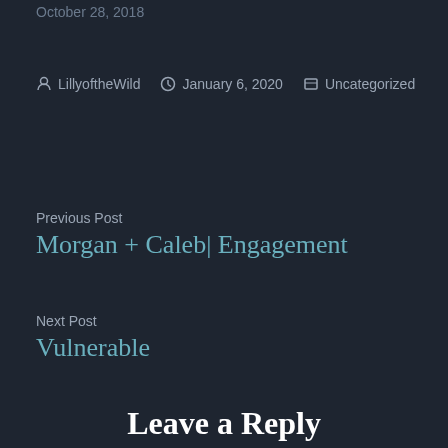October 28, 2018
LillyoftheWild  January 6, 2020  Uncategorized
Previous Post
Morgan + Caleb| Engagement
Next Post
Vulnerable
Leave a Reply